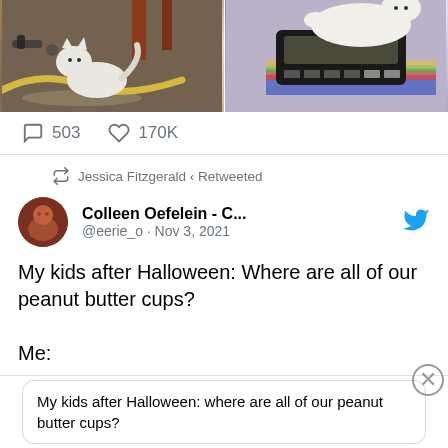[Figure (photo): Two photos of cats side by side: left photo shows a white cat on a workshop floor near tools, right photo shows a white cat near a calculator/keyboard on a desk]
503   170K
Jessica Fitzgerald ( Retweeted
Colleen Oefelein - C... @eerie_o · Nov 3, 2021
My kids after Halloween: Where are all of our peanut butter cups?

Me:
My kids after Halloween: where are all of our peanut butter cups?
Advertisements
[Figure (screenshot): DuckDuckGo advertisement banner: Search, browse, and email with more privacy. All in One Free App]